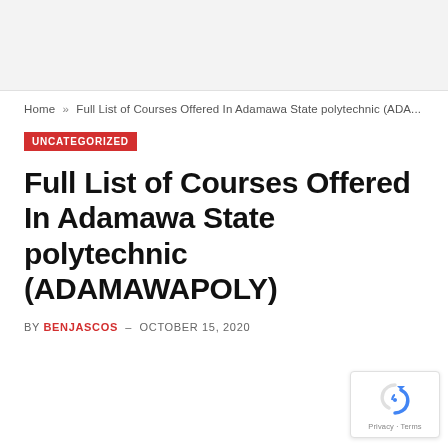Home » Full List of Courses Offered In Adamawa State polytechnic (ADA...
UNCATEGORIZED
Full List of Courses Offered In Adamawa State polytechnic (ADAMAWAPOLY)
BY BENJASCOS – OCTOBER 15, 2020